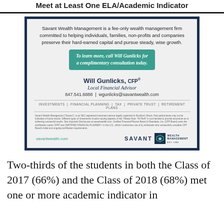Meet at Least One ELA/Academic Indicator
[Figure (advertisement): Savant Wealth Management advertisement featuring Will Gunlicks, CFP, Local Financial Advisor. Includes company description, call-to-action button, contact info (847.541.6888, wgunlicks@savantwealth.com), services list (Investments, Financial Planning, Tax, Private Trust, Retirement Plans), disclaimer text, website savantwealth.com, and Savant Wealth Management logo.]
Two-thirds of the students in both the Class of 2017 (66%) and the Class of 2018 (68%) met one or more academic indicator in